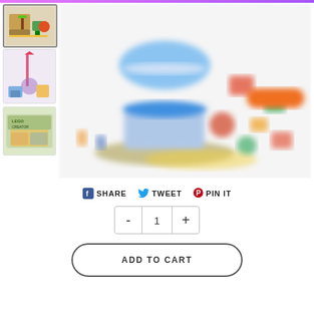[Figure (screenshot): E-commerce product page showing LEGO Creator set with carousel/fairground theme. Left column has three thumbnail images. Main area shows product image (blurred/zoomed). Below are social share buttons (Share, Tweet, Pin It), a quantity selector with minus and plus buttons showing value 1, and an Add to Cart button.]
SHARE
TWEET
PIN IT
1
ADD TO CART